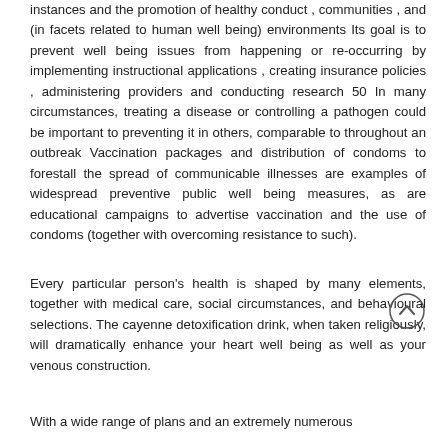instances and the promotion of healthy conduct , communities , and (in facets related to human well being) environments Its goal is to prevent well being issues from happening or re-occurring by implementing instructional applications , creating insurance policies , administering providers and conducting research 50 In many circumstances, treating a disease or controlling a pathogen could be important to preventing it in others, comparable to throughout an outbreak Vaccination packages and distribution of condoms to forestall the spread of communicable illnesses are examples of widespread preventive public well being measures, as are educational campaigns to advertise vaccination and the use of condoms (together with overcoming resistance to such).
Every particular person's health is shaped by many elements, together with medical care, social circumstances, and behavioural selections. The cayenne detoxification drink, when taken religiously, will dramatically enhance your heart well being as well as your venous construction.
With a wide range of plans and an extremely numerous